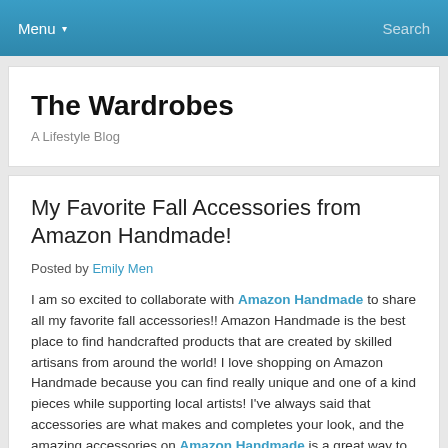Menu ▾   Search
The Wardrobes
A Lifestyle Blog
My Favorite Fall Accessories from Amazon Handmade!
Posted by Emily Men
I am so excited to collaborate with Amazon Handmade to share all my favorite fall accessories!! Amazon Handmade is the best place to find handcrafted products that are created by skilled artisans from around the world! I love shopping on Amazon Handmade because you can find really unique and one of a kind pieces while supporting local artists! I've always said that accessories are what makes and completes your look, and the amazing accessories on Amazon Handmade is a great way to refresh your wardrobe without breaking your budget! Check out some of my favorite fall finds!